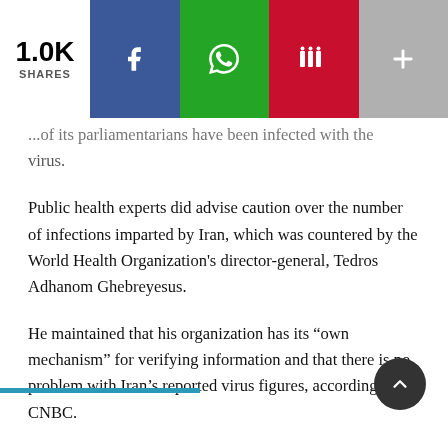[Figure (infographic): Social share bar showing 1.0K shares with Facebook (blue), WhatsApp (green), LinkedIn/social (red), and more (+) (gray) buttons]
...of its parliamentarians have been infected with the virus.
Public health experts did advise caution over the number of infections imparted by Iran, which was countered by the World Health Organization's director-general, Tedros Adhanom Ghebreyesus.
He maintained that his organization has its “own mechanism” for verifying information and that there is no problem with Iran’s reported virus figures, according to CNBC.